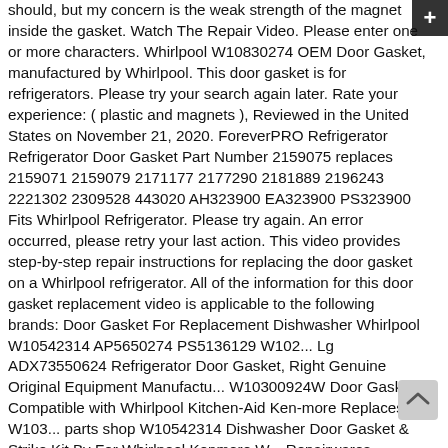should, but my concern is the weak strength of the magnet inside the gasket. Watch The Repair Video. Please enter one or more characters. Whirlpool W10830274 OEM Door Gasket, manufactured by Whirlpool. This door gasket is for refrigerators. Please try your search again later. Rate your experience: ( plastic and magnets ), Reviewed in the United States on November 21, 2020. ForeverPRO Refrigerator Refrigerator Door Gasket Part Number 2159075 replaces 2159071 2159079 2171177 2177290 2181889 2196243 2221302 2309528 443020 AH323900 EA323900 PS323900 Fits Whirlpool Refrigerator. Please try again. An error occurred, please retry your last action. This video provides step-by-step repair instructions for replacing the door gasket on a Whirlpool refrigerator. All of the information for this door gasket replacement video is applicable to the following brands: Door Gasket For Replacement Dishwasher Whirlpool W10542314 AP5650274 PS5136129 W102... Lg ADX73550624 Refrigerator Door Gasket, Right Genuine Original Equipment Manufactu... W10300924W Door Gasket Compatible with Whirlpool Kitchen-Aid Ken-more Replaces W103... parts shop W10542314 Dishwasher Door Gasket & Strike Kit By For Whirlpool Kenmore W... Repairwares Refrigerator Door Gasket Seal 2188404A 2188404 4387622 4387624 939565 943116 943220 986706 AP3092332, Repairwares Refrigerator Freezer Door Gasket Seal 12550116Q WP12550116Q SAM59 12529016 8170655 8170646 817065... 10456860 12550116 4344354 8170308. Kenmore 241778397 Refrigerator...